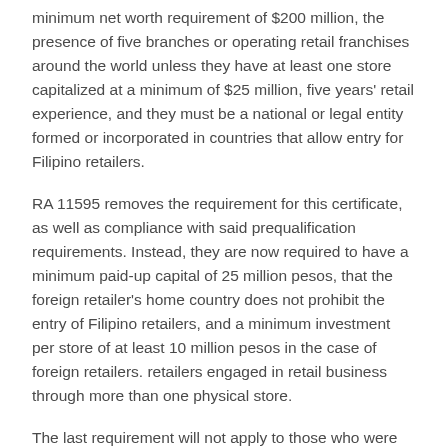minimum net worth requirement of $200 million, the presence of five branches or operating retail franchises around the world unless they have at least one store capitalized at a minimum of $25 million, five years' retail experience, and they must be a national or legal entity formed or incorporated in countries that allow entry for Filipino retailers.
RA 11595 removes the requirement for this certificate, as well as compliance with said prequalification requirements. Instead, they are now required to have a minimum paid-up capital of 25 million pesos, that the foreign retailer's home country does not prohibit the entry of Filipino retailers, and a minimum investment per store of at least 10 million pesos in the case of foreign retailers. retailers engaged in retail business through more than one physical store.
The last requirement will not apply to those who were not required to meet the minimum investment per store when the new law came into force.